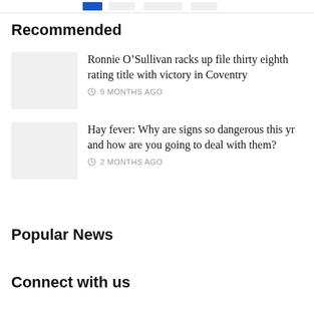navigation bar with blue indicator
Recommended
Ronnie O’Sullivan racks up file thirty eighth rating title with victory in Coventry
9 MONTHS AGO
Hay fever: Why are signs so dangerous this yr and how are you going to deal with them?
2 MONTHS AGO
Popular News
Connect with us